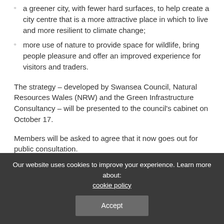a greener city, with fewer hard surfaces, to help create a city centre that is a more attractive place in which to live and more resilient to climate change;
more use of nature to provide space for wildlife, bring people pleasure and offer an improved experience for visitors and traders.
The strategy – developed by Swansea Council, Natural Resources Wales (NRW) and the Green Infrastructure Consultancy – will be presented to the council's cabinet on October 17.
Members will be asked to agree that it now goes out for public consultation.
Green infrastructure is a term used to describe all the features of
Our website uses cookies to improve your experience. Learn more about: cookie policy
Accept